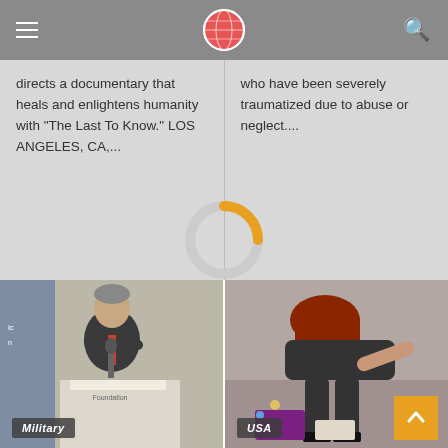directs a documentary that heals and enlightens humanity with "The Last To Know." LOS ANGELES, CA,...
who have been severely traumatized due to abuse or neglect....
[Figure (photo): Man in dark suit speaking at a podium, with a foundation logo visible. Military badge overlay visible at bottom left.]
[Figure (photo): Woman with red hair bending over what appears to be luggage or items on a surface. USA badge overlay visible at bottom left.]